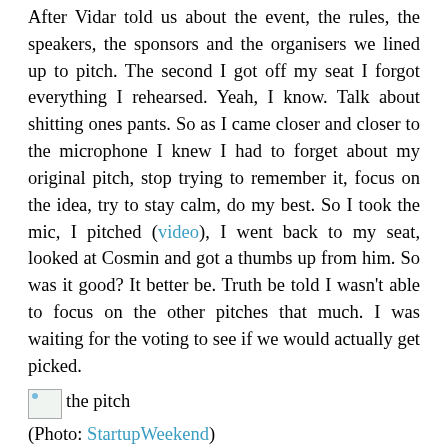After Vidar told us about the event, the rules, the speakers, the sponsors and the organisers we lined up to pitch. The second I got off my seat I forgot everything I rehearsed. Yeah, I know. Talk about shitting ones pants. So as I came closer and closer to the microphone I knew I had to forget about my original pitch, stop trying to remember it, focus on the idea, try to stay calm, do my best. So I took the mic, I pitched (video), I went back to my seat, looked at Cosmin and got a thumbs up from him. So was it good? It better be. Truth be told I wasn't able to focus on the other pitches that much. I was waiting for the voting to see if we would actually get picked.
[Figure (photo): Small image placeholder with text 'the pitch' beside it]
(Photo: StartupWeekend)
The voting coincided with dinner, so in between pizza slices everybody was talking to everybody and putting up stickers on their favourite projects. While all we were doing was keeping our eyes fixed on that sheet of paper with ontopic on